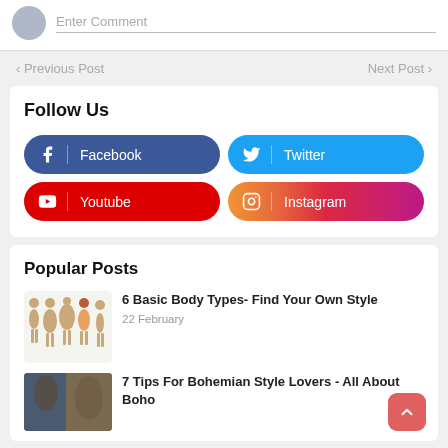Enter Comment
< Previous Post
Next Post >
Follow Us
Facebook
Twitter
Youtube
Instagram
Popular Posts
6 Basic Body Types- Find Your Own Style
22 February
7 Tips For Bohemian Style Lovers - All About Boho